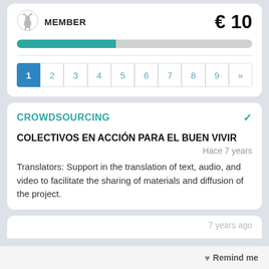[Figure (logo): Small deer/animal logo icon]
MEMBER
€ 10
[Figure (infographic): Progress bar, approximately 42% filled in teal/green color]
1 2 3 4 5 6 7 8 9 »
CROWDSOURCING
COLECTIVOS EN ACCIÓN PARA EL BUEN VIVIR
Hace 7 years
Translators: Support in the translation of text, audio, and video to facilitate the sharing of materials and diffusion of the project.
7 years ago
Remind me